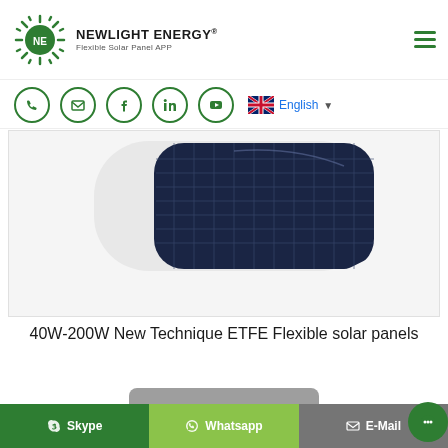[Figure (logo): Newlight Energy logo - circular sun icon with NE text and rays, green color]
NEWLIGHT ENERGY® Flexible Solar Panel APP
[Figure (infographic): Social media icons row: phone, email, Facebook, LinkedIn, YouTube circles in green. UK flag with English language selector.]
[Figure (photo): Curved flexible solar panel with dark blue cells and white frame, photographed from above on white background]
40W-200W New Technique ETFE Flexible solar panels
READ MORE
Skype   Whatsapp   E-Mail